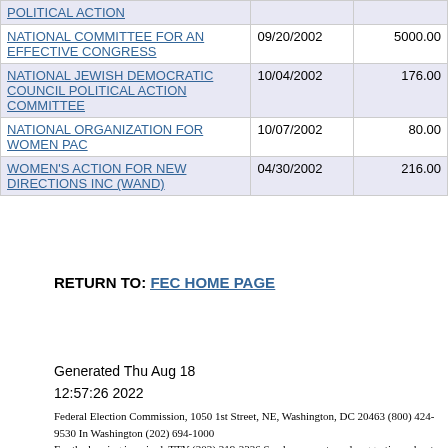| Name | Date | Amount |
| --- | --- | --- |
| POLITICAL ACTION |  |  |
| NATIONAL COMMITTEE FOR AN EFFECTIVE CONGRESS | 09/20/2002 | 5000.00 |
| NATIONAL JEWISH DEMOCRATIC COUNCIL POLITICAL ACTION COMMITTEE | 10/04/2002 | 176.00 |
| NATIONAL ORGANIZATION FOR WOMEN PAC | 10/07/2002 | 80.00 |
| WOMEN'S ACTION FOR NEW DIRECTIONS INC (WAND) | 04/30/2002 | 216.00 |
RETURN TO: FEC HOME PAGE
Generated Thu Aug 18 12:57:26 2022
Federal Election Commission, 1050 1st Street, NE, Washington, DC 20463 (800) 424-9530 In Washington (202) 694-1000 For the hearing impaired, TTY (202) 219-3336 Send comments and suggestions about this site to: webmanager@fec.gov.